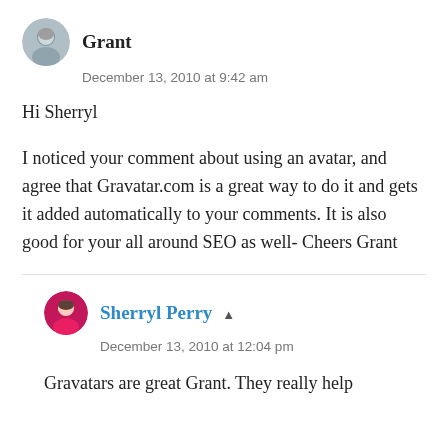[Figure (photo): Round avatar photo of Grant, a man with grey hair]
Grant
December 13, 2010 at 9:42 am
Hi Sherryl
I noticed your comment about using an avatar, and agree that Gravatar.com is a great way to do it and gets it added automatically to your comments. It is also good for your all around SEO as well- Cheers Grant
[Figure (photo): Round avatar photo of Sherryl Perry, a woman with dark hair wearing a red/pink top]
Sherryl Perry
December 13, 2010 at 12:04 pm
Gravatars are great Grant. They really help